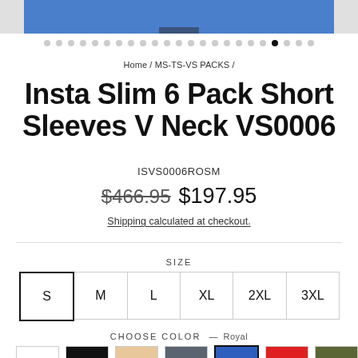[Figure (photo): Partial product image of a blue shirt at the top of the page with gray side panels]
● ● ● ● ● ● ● ● ● ● ● ● ● ● ● ● ● ● ● ● (active) ● ● ●
Home / MS-TS-VS PACKS /
Insta Slim 6 Pack Short Sleeves V Neck VS0006
ISVS0006ROSM
$466.95  $197.95
Shipping calculated at checkout.
SIZE
S  M  L  XL  2XL  3XL
CHOOSE COLOR — Royal
[Figure (other): Color swatches: white, black, tan/beige, charcoal gray, royal blue (selected), red, olive green]